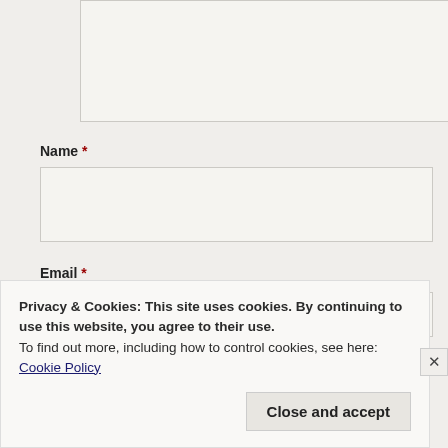[Figure (screenshot): Textarea form field (empty, resizable) at top of page]
Name *
[Figure (screenshot): Name input text field (empty)]
Email *
[Figure (screenshot): Email input text field (partially visible, empty)]
Privacy & Cookies: This site uses cookies. By continuing to use this website, you agree to their use.
To find out more, including how to control cookies, see here: Cookie Policy
Close and accept